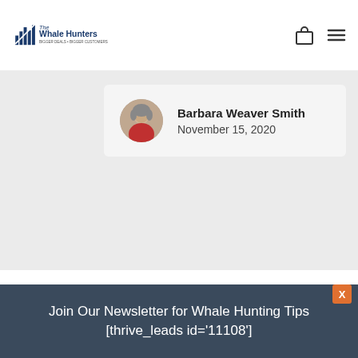The Whale Hunters - New Account Growth Technology Tools
New Account Growth Technology Tools
Barbara Weaver Smith
November 15, 2020
0 comments
Oldest ▼ comments first
Join Our Newsletter for Whale Hunting Tips [thrive_leads id='11108']